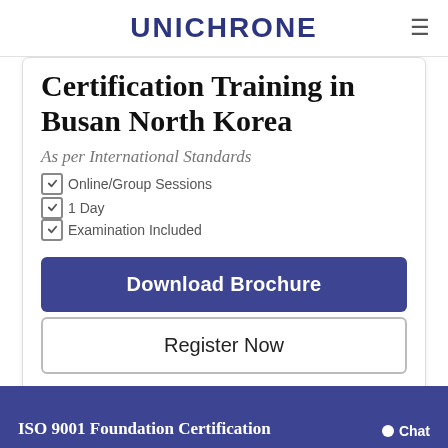UNICHRONE
Certification Training in Busan North Korea
As per International Standards
Online/Group Sessions
1 Day
Examination Included
Download Brochure
Register Now
Learn from Industry Experts
ISO 9001 Foundation Certification